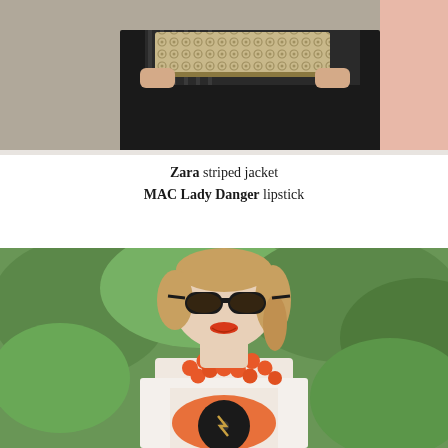[Figure (photo): Close-up photo of a woman's midsection and hands. She is wearing a Zara striped jacket and holding a patterned clutch bag. Black skirt visible, pink background element on the right.]
Zara striped jacket
MAC Lady Danger lipstick
[Figure (photo): Outdoor portrait photo of a woman smiling, wearing large black sunglasses, bright orange-red lipstick, a large orange beaded statement necklace, and a white graphic t-shirt with an orange and black vinyl record print. Background is green foliage/trees.]